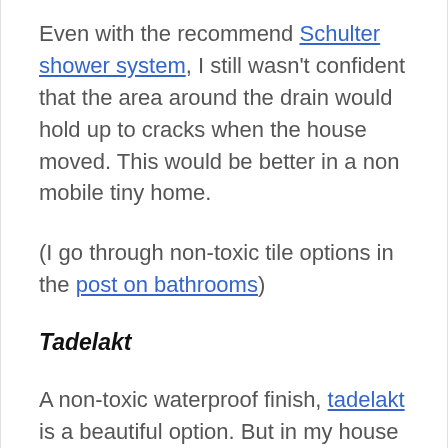Even with the recommend Schulter shower system, I still wasn't confident that the area around the drain would hold up to cracks when the house moved. This would be better in a non mobile tiny home.
(I go through non-toxic tile options in the post on bathrooms)
Tadelakt
A non-toxic waterproof finish, tadelakt is a beautiful option. But in my house on wheels all the plaster has cracked.